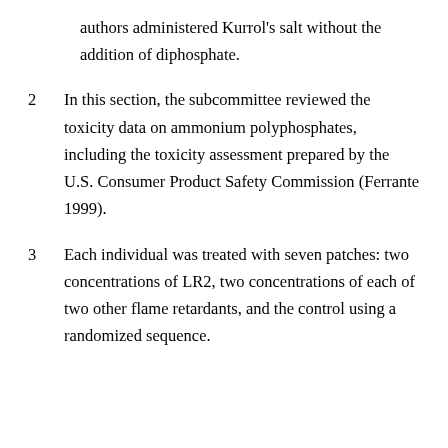authors administered Kurrol's salt without the addition of diphosphate.
2  In this section, the subcommittee reviewed the toxicity data on ammonium polyphosphates, including the toxicity assessment prepared by the U.S. Consumer Product Safety Commission (Ferrante 1999).
3  Each individual was treated with seven patches: two concentrations of LR2, two concentrations of each of two other flame retardants, and the control using a randomized sequence.